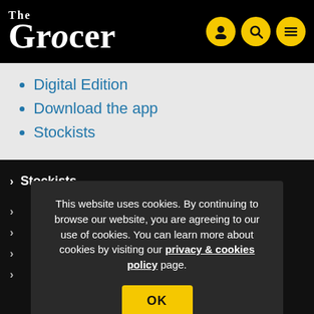The Grocer
Digital Edition
Download the app
Stockists
> Stockists
This website uses cookies. By continuing to browse our website, you are agreeing to our use of cookies. You can learn more about cookies by visiting our privacy & cookies policy page.
> Previous Issues
> A to Z of subjects